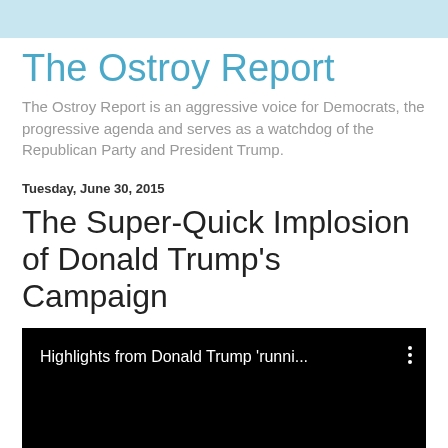The Ostroy Report
The Ostroy Report is an aggressive voice for Democrats, the progressive agenda and serves as a watchdog of the Republican Party and President Trump.
Tuesday, June 30, 2015
The Super-Quick Implosion of Donald Trump's Campaign
[Figure (screenshot): Embedded video player with black background showing text 'Highlights from Donald Trump ‘runni...' with a vertical three-dot menu icon]